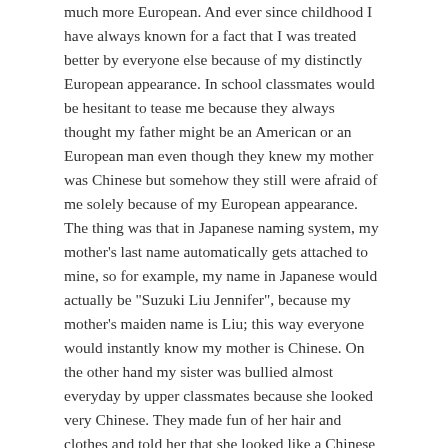much more European. And ever since childhood I have always known for a fact that I was treated better by everyone else because of my distinctly European appearance. In school classmates would be hesitant to tease me because they always thought my father might be an American or an European man even though they knew my mother was Chinese but somehow they still were afraid of me solely because of my European appearance. The thing was that in Japanese naming system, my mother's last name automatically gets attached to mine, so for example, my name in Japanese would actually be "Suzuki Liu Jennifer", because my mother's maiden name is Liu; this way everyone would instantly know my mother is Chinese. On the other hand my sister was bullied almost everyday by upper classmates because she looked very Chinese. They made fun of her hair and clothes and told her that she looked like a Chinese pig and I had seen boys pulling down her pants and laughing at her for having a "Chinese vagina". I was a very young girl back then and I felt ashamed of having her as a